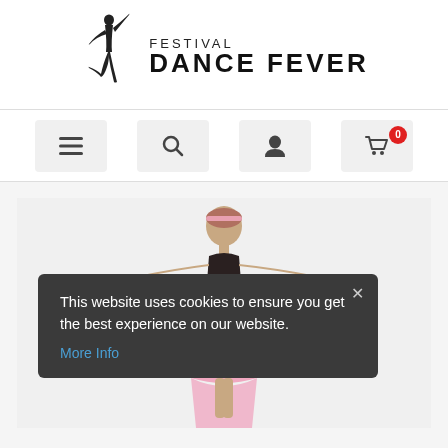[Figure (logo): Festival Dance Fever logo with a dancer silhouette and the text FESTIVAL DANCE FEVER]
[Figure (screenshot): Navigation bar with hamburger menu, search, account, and cart (0) icon buttons]
[Figure (photo): A dancer in a pink dress with arms extended, performing a dance pose against a white background]
This website uses cookies to ensure you get the best experience on our website. More Info